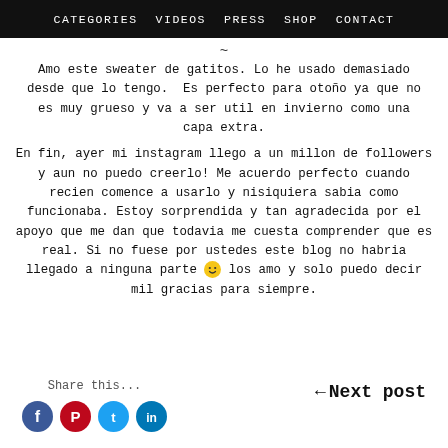CATEGORIES  VIDEOS  PRESS  SHOP  CONTACT
~
Amo este sweater de gatitos. Lo he usado demasiado desde que lo tengo.  Es perfecto para otoño ya que no es muy grueso y va a ser util en invierno como una capa extra.
En fin, ayer mi instagram llego a un millon de followers y aun no puedo creerlo! Me acuerdo perfecto cuando recien comence a usarlo y nisiquiera sabia como funcionaba. Estoy sorprendida y tan agradecida por el apoyo que me dan que todavia me cuesta comprender que es real. Si no fuese por ustedes este blog no habria llegado a ninguna parte 🙂 los amo y solo puedo decir mil gracias para siempre.
Share this...
← Next post